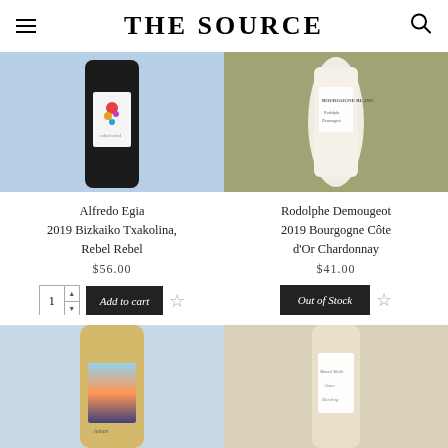THE SOURCE
[Figure (photo): Alfredo Egia 2019 Bizkaiko Txakolina Rebel Rebel wine bottle with colorful figurine label against blue background]
Alfredo Egia
2019 Bizkaiko Txakolina,
Rebel Rebel
$56.00
[Figure (photo): Rodolphe Demougeot 2019 Bourgogne Blanc wine bottle on decorative background]
Rodolphe Demougeot
2019 Bourgogne Côte d'Or Chardonnay
$41.00
[Figure (photo): Wine bottle with sunset/ocean label against light blue background]
[Figure (photo): Wine bottle with white label, partially visible, appears to be Manual Molds]